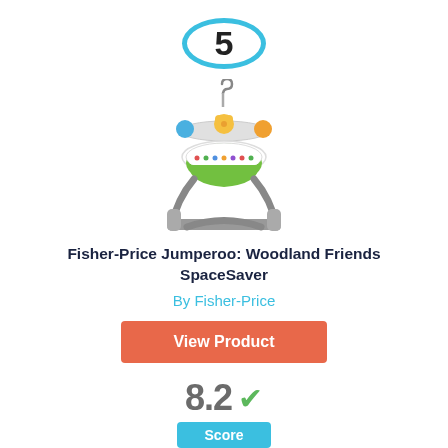5
[Figure (photo): Fisher-Price Jumperoo: Woodland Friends SpaceSaver product photo showing a baby jumper with green seat and colorful toy bar on top, mounted on a grey frame]
Fisher-Price Jumperoo: Woodland Friends SpaceSaver
By Fisher-Price
View Product
8.2
Score